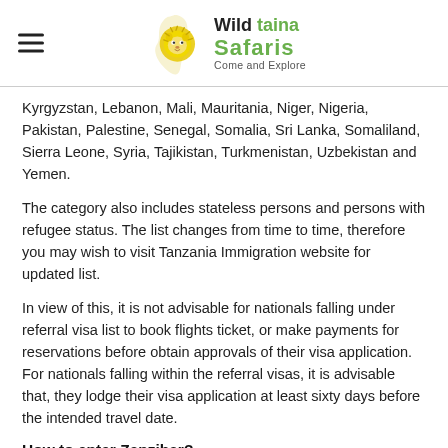Wild taina Safaris — Come and Explore
Kyrgyzstan, Lebanon, Mali, Mauritania, Niger, Nigeria, Pakistan, Palestine, Senegal, Somalia, Sri Lanka, Somaliland, Sierra Leone, Syria, Tajikistan, Turkmenistan, Uzbekistan and Yemen.
The category also includes stateless persons and persons with refugee status. The list changes from time to time, therefore you may wish to visit Tanzania Immigration website for updated list.
In view of this, it is not advisable for nationals falling under referral visa list to book flights ticket, or make payments for reservations before obtain approvals of their visa application. For nationals falling within the referral visas, it is advisable that, they lodge their visa application at least sixty days before the intended travel date.
How to enter Zanzibar?
Going to Zanzibar is not a heft undertaking, many international